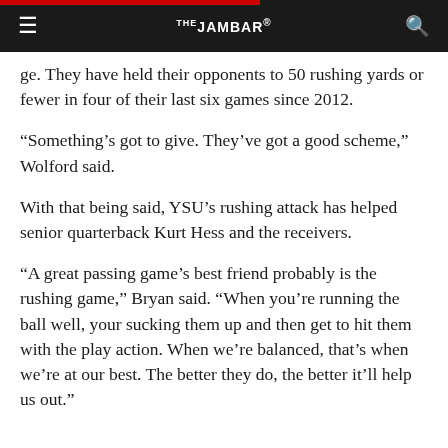THE JAMBAR
ge. They have held their opponents to 50 rushing yards or fewer in four of their last six games since 2012.
“Something’s got to give. They’ve got a good scheme,” Wolford said.
With that being said, YSU’s rushing attack has helped senior quarterback Kurt Hess and the receivers.
“A great passing game’s best friend probably is the rushing game,” Bryan said. “When you’re running the ball well, your sucking them up and then get to hit them with the play action. When we’re balanced, that’s when we’re at our best. The better they do, the better it’ll help us out.”